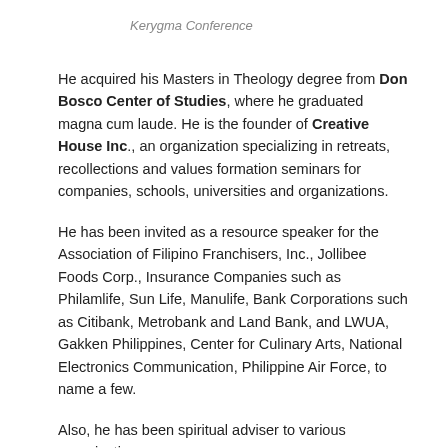Kerygma Conference
He acquired his Masters in Theology degree from Don Bosco Center of Studies, where he graduated magna cum laude. He is the founder of Creative House Inc., an organization specializing in retreats, recollections and values formation seminars for companies, schools, universities and organizations.
He has been invited as a resource speaker for the Association of Filipino Franchisers, Inc., Jollibee Foods Corp., Insurance Companies such as Philamlife, Sun Life, Manulife, Bank Corporations such as Citibank, Metrobank and Land Bank, and LWUA, Gakken Philippines, Center for Culinary Arts, National Electronics Communication, Philippine Air Force, to name a few.
Also, he has been spiritual adviser to various organizations